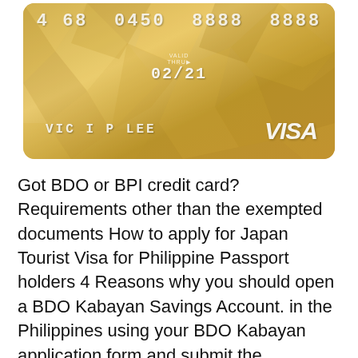[Figure (photo): Gold geometric pattern Visa credit card with card number 4 68 0450 8888 8888, valid thru 02/21, cardholder name VIC I P LEE]
Got BDO or BPI credit card? Requirements other than the exempted documents How to apply for Japan Tourist Visa for Philippine Passport holders 4 Reasons why you should open a BDO Kabayan Savings Account. in the Philippines using your BDO Kabayan application form and submit the requirements.
Top Credit Cards In Philippines 2018